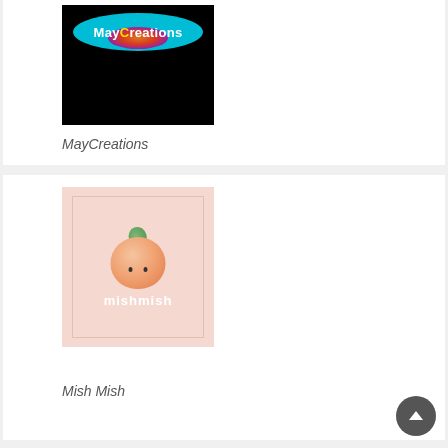[Figure (logo): MayCreations logo: teal oval with colorful glow and white text on black background]
MayCreations
[Figure (logo): Mish Mish logo: cute apricot character with leaf and face on pink background, with 'mishmish' text below]
Mish Mish
[Figure (logo): Partial logo image at bottom, light beige/cream background, cropped]